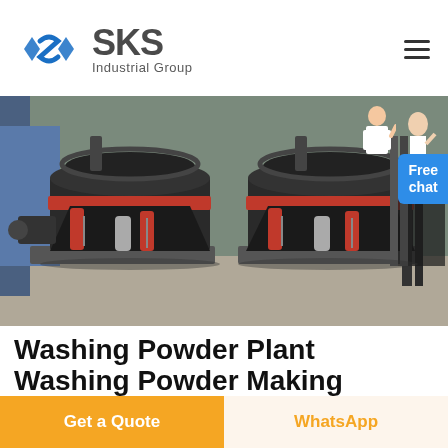[Figure (logo): SKS Industrial Group logo with blue angular S-shaped icon and bold SKS text with 'Industrial Group' subtitle]
[Figure (photo): Industrial cone crushers or grinding mills in a factory setting — large black and red heavy machinery on metal stands]
Washing Powder Plant Washing Powder Making
Get a Quote
WhatsApp